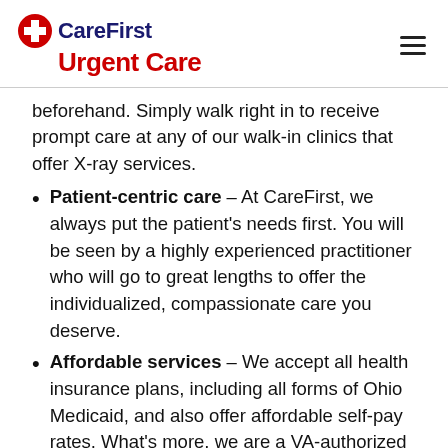CareFirst Urgent Care
beforehand. Simply walk right in to receive prompt care at any of our walk-in clinics that offer X-ray services.
Patient-centric care – At CareFirst, we always put the patient's needs first. You will be seen by a highly experienced practitioner who will go to great lengths to offer the individualized, compassionate care you deserve.
Affordable services – We accept all health insurance plans, including all forms of Ohio Medicaid, and also offer affordable self-pay rates. What's more, we are a VA-authorized